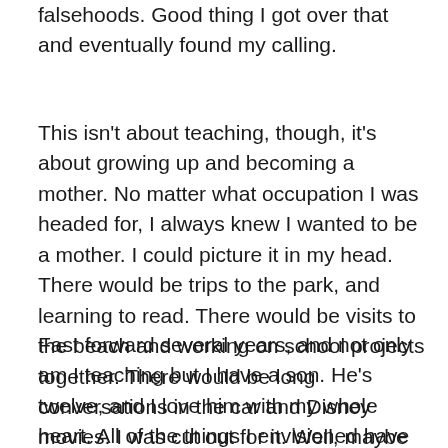falsehoods. Good thing I got over that and eventually found my calling.
This isn't about teaching, though, it's about growing up and becoming a mother. No matter what occupation I was headed for, I always knew I wanted to be a mother. I could picture it in my head. There would be trips to the park, and learning to read. There would be visits to the beach and working on school projects together. There would be long conversations in the car and Disney movies. I was cut out for it. Well, maybe not the baby part so much, but the rest of it.
Fast forward several years, and not only am I teaching but I have a son. He's twelve, and I love him with my whole heart. All of the things I envisioned have come to pass, and there's so much more ahead. Being his mother is part